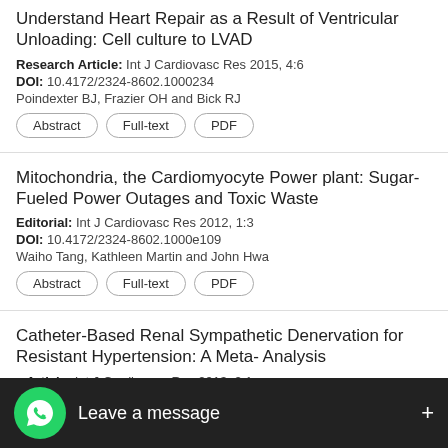Understand Heart Repair as a Result of Ventricular Unloading: Cell culture to LVAD
Research Article: Int J Cardiovasc Res 2015, 4:6
DOI: 10.4172/2324-8602.1000234
Poindexter BJ, Frazier OH and Bick RJ
Abstract | Full-text | PDF
Mitochondria, the Cardiomyocyte Power plant: Sugar-Fueled Power Outages and Toxic Waste
Editorial: Int J Cardiovasc Res 2012, 1:3
DOI: 10.4172/2324-8602.1000e109
Waiho Tang, Kathleen Martin and John Hwa
Abstract | Full-text | PDF
Catheter-Based Renal Sympathetic Denervation for Resistant Hypertension: A Meta- Analysis
y Article: Int J Cardiovasc Res 2013, 2:1
acedo, Alexandre M. Benjo, Ema...